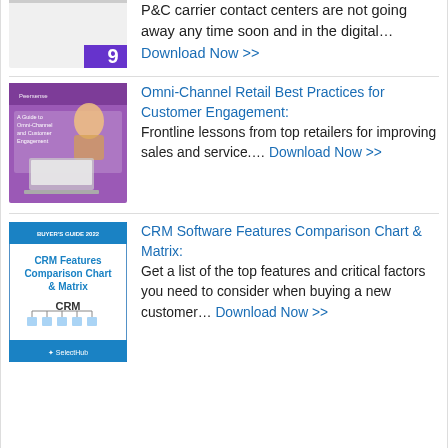P&C carrier contact centers are not going away any time soon and in the digital... Download Now >>
[Figure (illustration): Book cover with number 9 badge, purple accent]
[Figure (illustration): Book cover: A Guide to Omni-Channel and Customer Engagement - person at laptop]
Omni-Channel Retail Best Practices for Customer Engagement: Frontline lessons from top retailers for improving sales and service.... Download Now >>
[Figure (illustration): Book cover: CRM Features Comparison Chart & Matrix - Buyer's Guide 2022, SelectHub]
CRM Software Features Comparison Chart & Matrix: Get a list of the top features and critical factors you need to consider when buying a new customer... Download Now >>